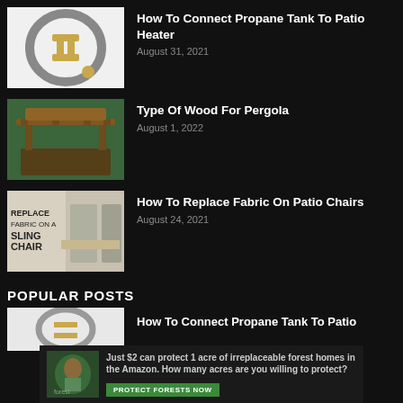[Figure (photo): Propane hose coiled with connectors]
How To Connect Propane Tank To Patio Heater
August 31, 2021
[Figure (photo): Wooden pergola in garden setting]
Type Of Wood For Pergola
August 1, 2022
[Figure (photo): Patio chairs with sling fabric replacement text overlay]
How To Replace Fabric On Patio Chairs
August 24, 2021
POPULAR POSTS
[Figure (photo): Partial thumbnail - propane related]
How To Connect Propane Tank To Patio
[Figure (photo): Advertisement: forest/amazon conservation with sloth image]
Just $2 can protect 1 acre of irreplaceable forest homes in the Amazon. How many acres are you willing to protect?
PROTECT FORESTS NOW